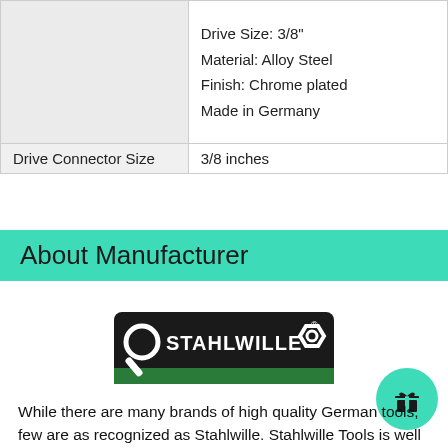|  | Drive Size: 3/8"
Material: Alloy Steel
Finish: Chrome plated
Made in Germany |
| Drive Connector Size | 3/8 inches |
About Manufacturer
[Figure (logo): Stahlwille brand logo — dark background with white wrench icon and STAHLWILLE text with socket icon]
While there are many brands of high quality German tools, few are as recognized as Stahlwille. Stahlwille Tools is well known not just for